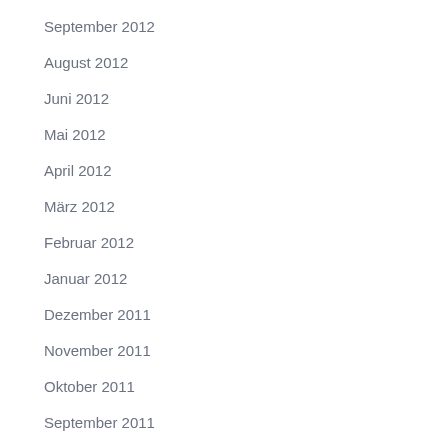September 2012
August 2012
Juni 2012
Mai 2012
April 2012
März 2012
Februar 2012
Januar 2012
Dezember 2011
November 2011
Oktober 2011
September 2011